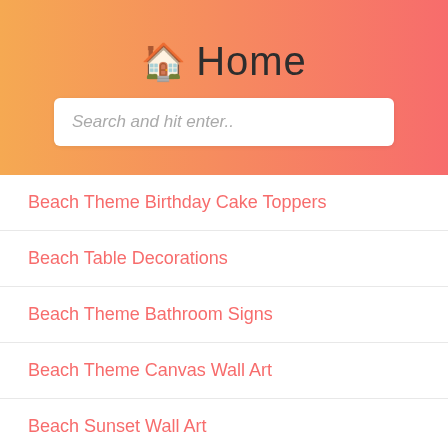Home
Beach Theme Birthday Cake Toppers
Beach Table Decorations
Beach Theme Bathroom Signs
Beach Theme Canvas Wall Art
Beach Sunset Wall Art
Beach Theme Bedroom Kids
Beach Theme Centerpieces For Bridal Shower
Beach Theme Bathroom Decor
Beach Theme Cake Images